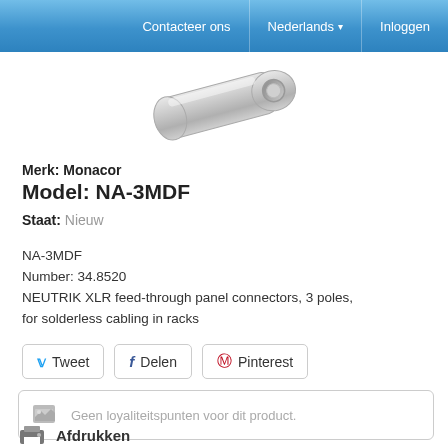Contacteer ons | Nederlands | Inloggen
[Figure (photo): Silver metal XLR feed-through panel connector component, photographed on white background]
Merk: Monacor
Model: NA-3MDF
Staat: Nieuw
NA-3MDF
Number: 34.8520
NEUTRIK XLR feed-through panel connectors, 3 poles, for solderless cabling in racks
Tweet  Delen  Pinterest
Geen loyaliteitspunten voor dit product.
Afdrukken